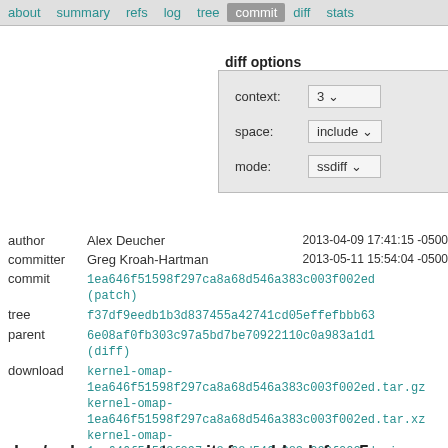about  summary  refs  log  tree  commit  diff  stats
diff options
| context: | 3 |
| space: | include |
| mode: | ssdiff |
| author | Alex Deucher | 2013-04-09 17:41:15 -0500 |
| committer | Greg Kroah-Hartman | 2013-05-11 15:54:04 -0500 |
| commit | 1ea646f51598f297ca8a68d546a383c003f002ed (patch) |  |
| tree | f37df9eedb1b3d837455a42741cd05effefbbb63 |  |
| parent | 6e08af0fb303c97a5bd7be70922110c0a983a1d1 (diff) |  |
| download | kernel-omap-1ea646f51598f297ca8a68d546a383c003f002ed.tar.gz
kernel-omap-1ea646f51598f297ca8a68d546a383c003f002ed.tar.xz
kernel-omap-1ea646f51598f297ca8a68d546a383c003f002ed.zip |  |
drm/radeon: update wait_for_vblank for r5xx-